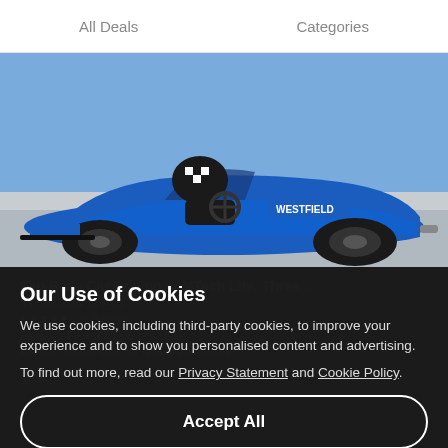All Deals   Categories
[Figure (photo): Blue Westfield open-top race car on a race track with a driver in a helmet and racing suit]
Lap Race Car Driving at MTech Lite, Three ...
3 Locations • 16.5 km
4 Ratings
£195.00 From£89.95 54% OFF
For one: six-lap race car driving experience
Our Use of Cookies
We use cookies, including third-party cookies, to improve your experience and to show you personalised content and advertising.
To find out more, read our Privacy Statement and Cookie Policy.
Accept All
Reject All
My Options